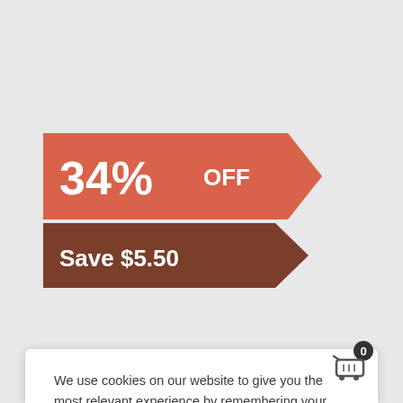[Figure (infographic): Discount badge: '34% OFF' on salmon/orange background with arrow shape, and 'Save $5.50' on dark brown arrow shape below]
We use cookies on our website to give you the most relevant experience by remembering your preferences and repeat visits. By clicking “Accept All”, you consent to the use of ALL the cookies. However, you may visit "Cookie Settings" to provide a controlled consent. Read More
Cookie Settings   Accept All